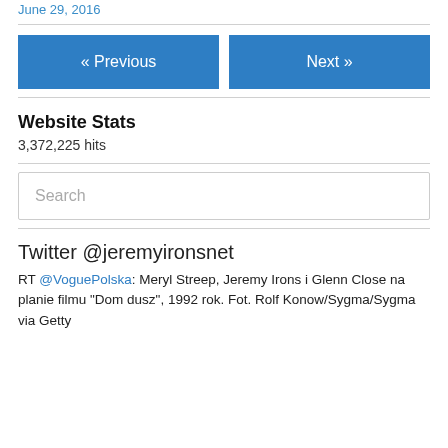June 29, 2016
« Previous    Next »
Website Stats
3,372,225 hits
Search
Twitter @jeremyironsnet
RT @VoguePolska: Meryl Streep, Jeremy Irons i Glenn Close na planie filmu "Dom dusz", 1992 rok. Fot. Rolf Konow/Sygma/Sygma via Getty